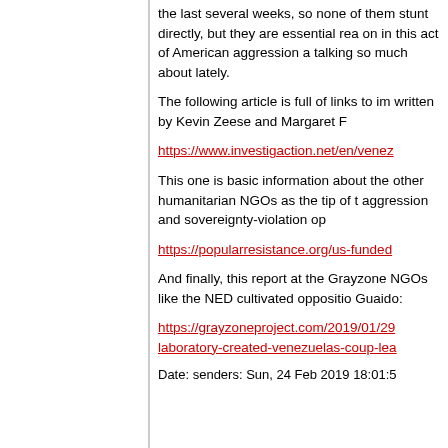the last several weeks, so none of them stunt directly, but they are essential rea on in this act of American aggression a talking so much about lately.
The following article is full of links to im written by Kevin Zeese and Margaret F
https://www.investigaction.net/en/venez
This one is basic information about the other humanitarian NGOs as the tip of t aggression and sovereignty-violation op
https://popularresistance.org/us-funded
And finally, this report at the Grayzone NGOs like the NED cultivated oppositio Guaido:
https://grayzoneproject.com/2019/01/29 laboratory-created-venezuelas-coup-lea
Date: senders: Sun, 24 Feb 2019 18:01:5